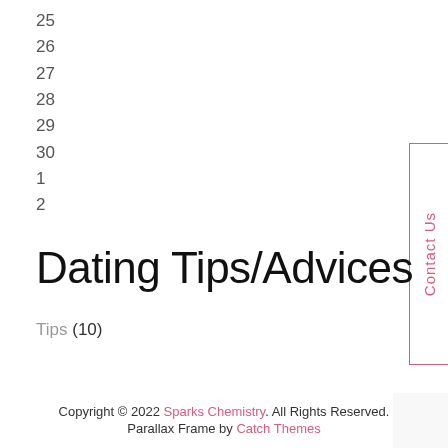25
26
27
28
29
30
1
2
Dating Tips/Advices
Tips (10)
Copyright © 2022 Sparks Chemistry. All Rights Reserved.
Parallax Frame by Catch Themes